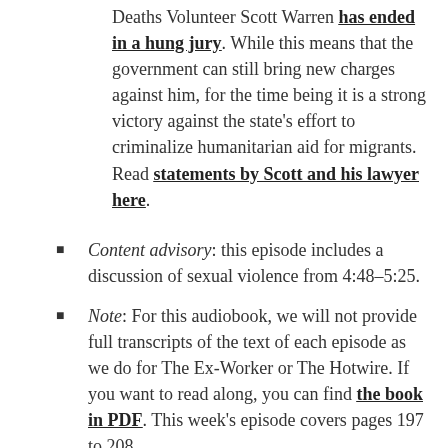Deaths Volunteer Scott Warren has ended in a hung jury. While this means that the government can still bring new charges against him, for the time being it is a strong victory against the state's effort to criminalize humanitarian aid for migrants. Read statements by Scott and his lawyer here.
Content advisory: this episode includes a discussion of sexual violence from 4:48–5:25.
Note: For this audiobook, we will not provide full transcripts of the text of each episode as we do for The Ex-Worker or The Hotwire. If you want to read along, you can find the book in PDF. This week's episode covers pages 197 to 208.
You can check out our poster diagramming the North American...